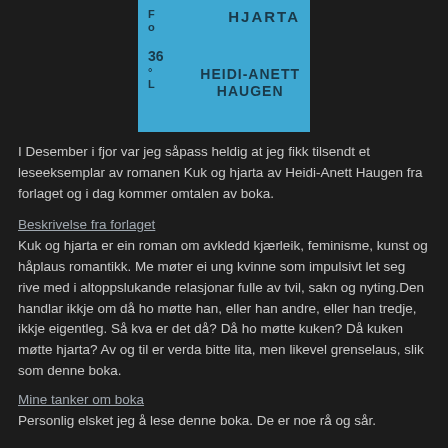[Figure (illustration): Book cover for 'Kuk og Hjarta' by Heidi-Anett Haugen. Blue rectangle with text: 'Fo 36 HJARTA' at top and 'HEIDI-ANETT HAUGEN' below, dark blue text on light blue background.]
I Desember i fjor var jeg såpass heldig at jeg fikk tilsendt et leseeksemplar av romanen Kuk og hjarta av Heidi-Anett Haugen fra forlaget og i dag kommer omtalen av boka.
Beskrivelse fra forlaget
Kuk og hjarta er ein roman om avkledd kjærleik, feminisme, kunst og håplaus romantikk. Me møter ei ung kvinne som impulsivt let seg rive med i altoppslukande relasjonar fulle av tvil, sakn og nyting.Den handlar ikkje om då ho møtte han, eller han andre, eller han tredje, ikkje eigentleg. Så kva er det då? Då ho møtte kuken? Då kuken møtte hjarta? Av og til er verda bitte lita, men likevel grenselaus, slik som denne boka.
Mine tanker om boka
Personlig elsket jeg å lese denne boka. De er noe rå og sår.